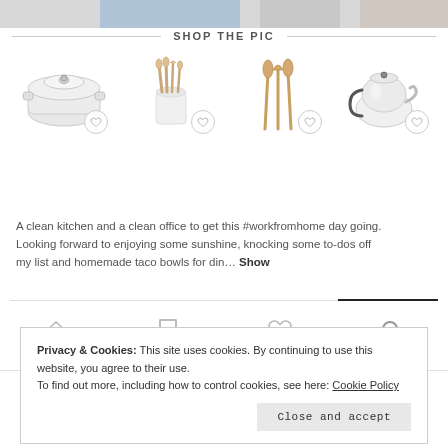[Figure (photo): Top strip showing partial product/lifestyle imagery]
SHOP THE PIC
[Figure (photo): Four kitchen product images: white dutch oven, utensil crock with brushes, three wooden spoons/spatulas, stainless steel kettle. Each has a heart/wishlist button.]
A clean kitchen and a clean office to get this #workfromhome day going. Looking forward to enjoying some sunshine, knocking some to-dos off my list and homemade taco bowls for din… Show
[Figure (infographic): Bottom navigation bar with home, saved posts, likes/heart, and search icons]
Privacy & Cookies: This site uses cookies. By continuing to use this website, you agree to their use.
To find out more, including how to control cookies, see here: Cookie Policy
Close and accept